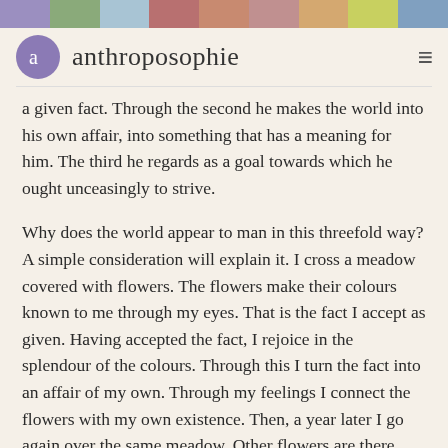anthroposophie
a given fact. Through the second he makes the world into his own affair, into something that has a meaning for him. The third he regards as a goal towards which he ought unceasingly to strive.
Why does the world appear to man in this threefold way? A simple consideration will explain it. I cross a meadow covered with flowers. The flowers make their colours known to me through my eyes. That is the fact I accept as given. Having accepted the fact, I rejoice in the splendour of the colours. Through this I turn the fact into an affair of my own. Through my feelings I connect the flowers with my own existence. Then, a year later I go again over the same meadow. Other flowers are there. Through the same experience in